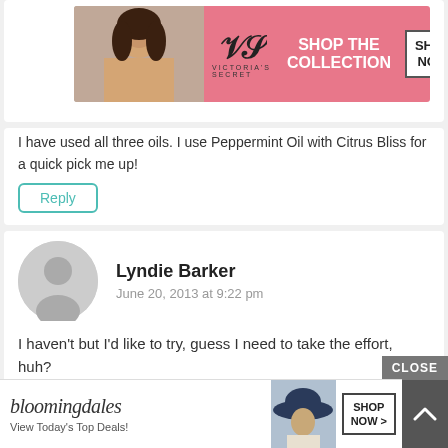[Figure (infographic): Victoria's Secret advertisement banner with model photo, VS logo, 'SHOP THE COLLECTION' text, and 'SHOP NOW' button on pink background]
I have used all three oils. I use Peppermint Oil with Citrus Bliss for a quick pick me up!
Reply
Lyndie Barker
June 20, 2013 at 9:22 pm
I haven't but I'd like to try, guess I need to take the effort, huh?
Reply
CLOSE
[Figure (infographic): Bloomingdale's advertisement with model in hat, 'View Today's Top Deals!' text, and 'SHOP NOW >' button]